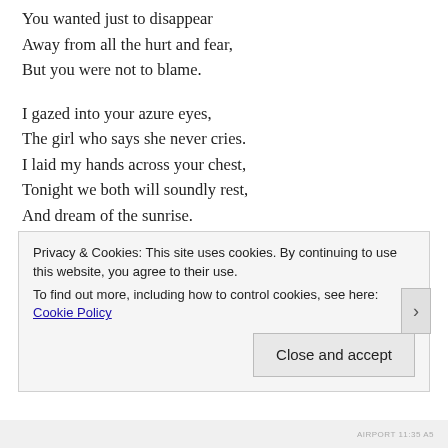You wanted just to disappear
Away from all the hurt and fear,
But you were not to blame.
I gazed into your azure eyes,
The girl who says she never cries.
I laid my hands across your chest,
Tonight we both will soundly rest,
And dream of the sunrise.
I saw your scars, I think we share
A pain that others could not bear,
Though I don't have the marks to show
Privacy & Cookies: This site uses cookies. By continuing to use this website, you agree to their use.
To find out more, including how to control cookies, see here: Cookie Policy
Close and accept
AIRPORT 11:35 A5